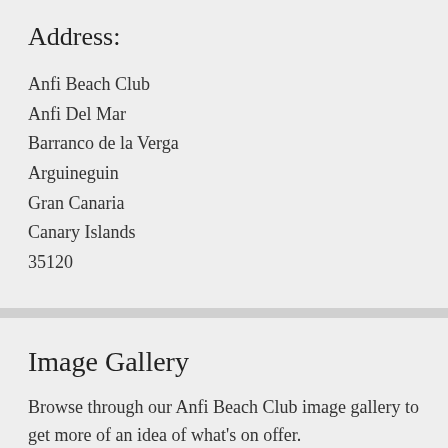Address:
Anfi Beach Club
Anfi Del Mar
Barranco de la Verga
Arguineguin
Gran Canaria
Canary Islands
35120
Image Gallery
Browse through our Anfi Beach Club image gallery to get more of an idea of what's on offer.
Open gallery